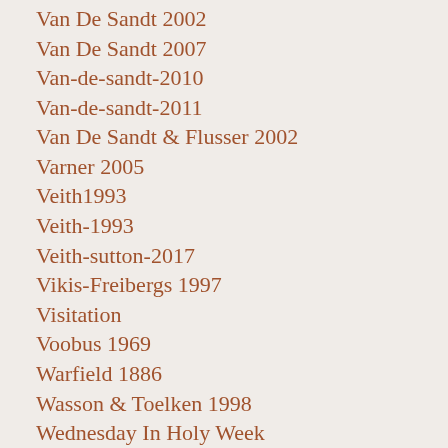Van De Sandt 2002
Van De Sandt 2007
Van-de-sandt-2010
Van-de-sandt-2011
Van De Sandt & Flusser 2002
Varner 2005
Veith1993
Veith-1993
Veith-sutton-2017
Vikis-Freibergs 1997
Visitation
Voobus 1969
Warfield 1886
Wasson & Toelken 1998
Wednesday In Holy Week
Wenham 1984
Wenham 1992
Weston-2009
Wilson2011